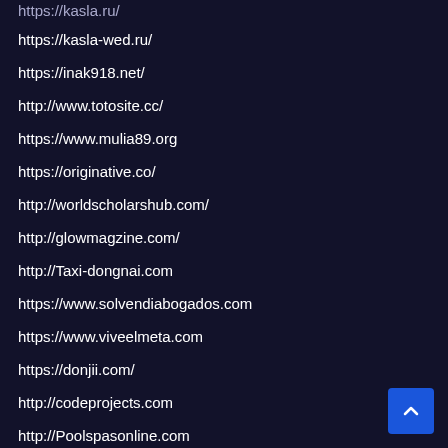https://kasla.ru/
https://kasla-wed.ru/
https://inak918.net/
http://www.totosite.cc/
https://www.mulia89.org
https://originative.co/
http://worldscholarshub.com/
http://glowmagzine.com/
http://Taxi-dongnai.com
https://www.solvendiabogados.com
https://www.viveelmeta.com
https://donjii.com/
http://codeprojects.com
http://Poolspasonline.com
http://Jardindenerja.com
https://cheerykiddo.com